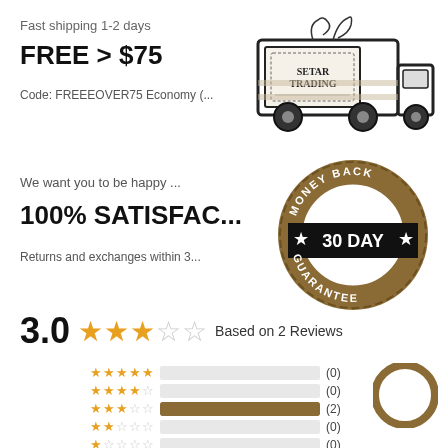Fast shipping 1-2 days
FREE > $75
Code: FREEEOVER75 Economy (...
[Figure (illustration): Delivery truck with SETAR TRADING logo on cargo box, decorative plants on top]
We want you to be happy ...
100% SATISFAC...
Returns and exchanges within 3...
[Figure (illustration): Money Back 30 Day Guarantee badge in gold/brown circular seal design]
3.0 ★★★☆☆ Based on 2 Reviews
[Figure (bar-chart): Rating distribution]
[Figure (illustration): Partial chat bubble icon in brown/gold color, bottom right corner]